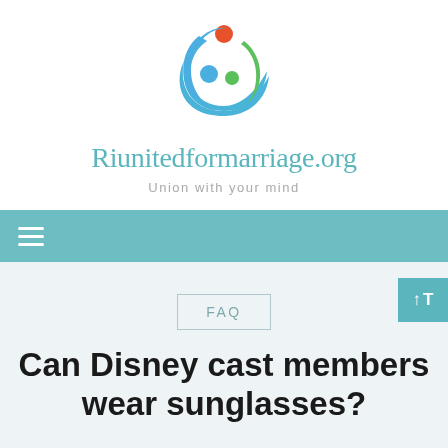[Figure (logo): Circular logo with blue crescent shape, orange figure at top, blue figure at bottom left, and green figure at bottom right forming a family motif]
Riunitedformarriage.org
Union with your mind
[Figure (other): Teal navigation bar with hamburger menu icon (three horizontal white lines) on the left]
[Figure (other): Teal scroll-to-top button with upward arrow and letter T, partially visible on right edge]
FAQ
Can Disney cast members wear sunglasses?